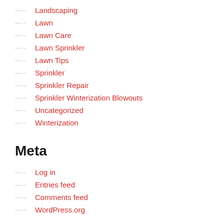Landscaping
Lawn
Lawn Care
Lawn Sprinkler
Lawn Tips
Sprinkler
Sprinkler Repair
Sprinkler Winterization Blowouts
Uncategorized
Winterization
Meta
Log in
Entries feed
Comments feed
WordPress.org